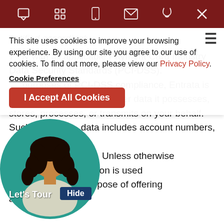[Figure (screenshot): Dark red browser toolbar with icons: chat bubble, grid, phone/tablet, email, phone, and X close button]
This site uses cookies to improve your browsing experience. By using our site you agree to our use of cookies. To find out more, please view our Privacy Policy.
Cookie Preferences
I Accept All Cookies
notified accordingly.
7. [partial] ly with all applicable Payment Card Industry Data Security Standards (PCI-DSS). purposes of PCI-DSS compliance, Entrata is responsible for all cardholder data it possesses, stores, processes, or transmits on your behalf. Such cardholder data includes account numbers, card [numbers], and CVV2 data. Unless otherwise [personally id]entifiable information is used [for the no]rmal business purpose of offering and [processing] services.
[Figure (photo): Circular avatar of a woman with curly dark hair, with 'Let's Tour' label and a 'Hide' button overlaid]